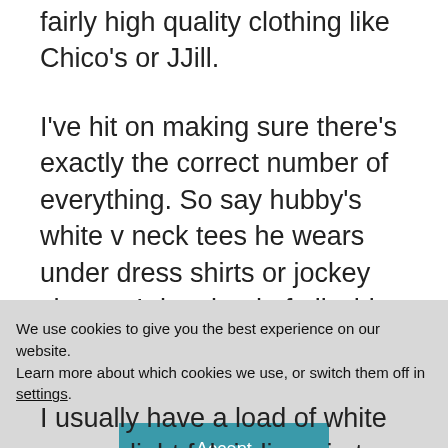fairly high quality clothing like Chico's or JJill.
I've hit on making sure there's exactly the correct number of everything. So say hubby's white v neck tees he wears under dress shirts or jockey shorts . I do a load of all white stuff every Monday. But no towels since we have only white kitchen towels
We use cookies to give you the best experience on our website.
Learn more about which cookies we use, or switch them off in settings.
Accept
I usually have a load of white or very light fabric lingerie too. I use the hand wash